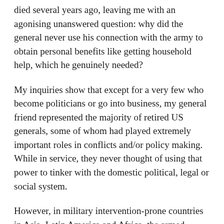died several years ago, leaving me with an agonising unanswered question: why did the general never use his connection with the army to obtain personal benefits like getting household help, which he genuinely needed?
My inquiries show that except for a very few who become politicians or go into business, my general friend represented the majority of retired US generals, some of whom had played extremely important roles in conflicts and/or policy making. While in service, they never thought of using that power to tinker with the domestic political, legal or social system.
However, in military intervention-prone countries in Asia, Latin America and Africa, the armed forces really believe that power flows from the barrel of the gun. Officers in such countries believe that they deserve all the privileges and that they are above law. Although they do not command militaries as powerful as those of the United States, they gain more power and comforts than American or European military